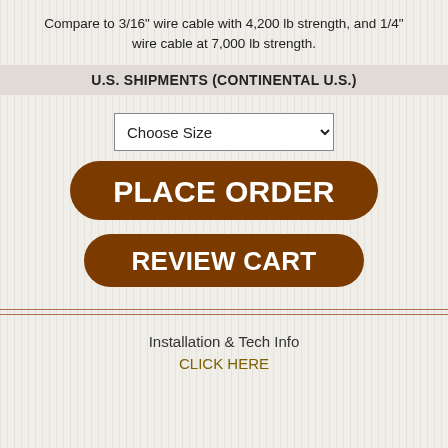Compare to 3/16" wire cable with 4,200 lb strength, and 1/4" wire cable at 7,000 lb strength.
U.S. SHIPMENTS (CONTINENTAL U.S.)
Choose Size
[Figure (other): Brown rounded rectangle button labeled PLACE ORDER in large white bold text]
[Figure (other): Brown rounded rectangle button labeled REVIEW CART in large white bold text]
Installation & Tech Info
CLICK HERE